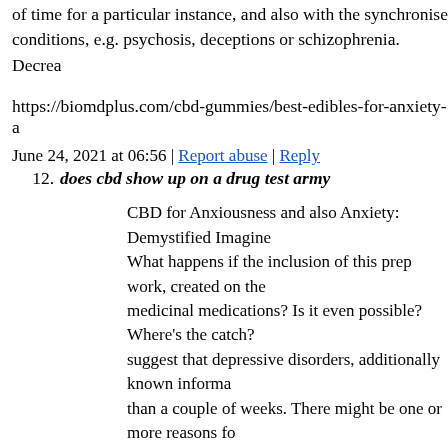of time for a particular instance, and also with the synchronise conditions, e.g. psychosis, deceptions or schizophrenia. Decrea
https://biomdplus.com/cbd-gummies/best-edibles-for-anxiety-a
June 24, 2021 at 06:56 | Report abuse | Reply
12. does cbd show up on a drug test army
CBD for Anxiousness and also Anxiety: Demystified Imagine What happens if the inclusion of this prep work, created on the medicinal medications? Is it even possible? Where's the catch? suggest that depressive disorders, additionally known informa than a couple of weeks. There might be one or more reasons fo affects both older as well as more youthful individuals. Our ed therapy, electroconvulsive therapy and also more natural tasks incorporation of cannabis preparations with cannabinoids natu clinical research studies as a potentially effective cannabinoid individuals consider CBD hemp preparations such as CBD oil, expanding at an extraordinary speed. THC as well as CBD can the impacts of THC. What are these effects? THC has an envig intake of THC can cause psychosis, absence of inspiration, ano endocannabinoid-1 system When writing pictures, CBD slows whatsoever. However. Its small visibility in hemp prep work is does not cause intoxication. Working together, THC and CBD endocannabinoid system The endocannabinoid system is a vita process. The endocannabinoid system includes a natural chemi